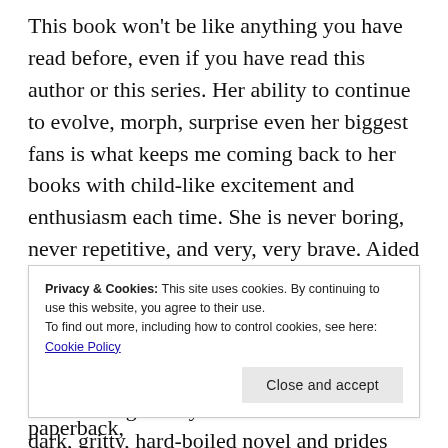This book won't be like anything you have read before, even if you have read this author or this series. Her ability to continue to evolve, morph, surprise even her biggest fans is what keeps me coming back to her books with child-like excitement and enthusiasm each time. She is never boring, never repetitive, and very, very brave. Aided by a translator who understands her and is with her every step of the way and a publisher who is not afraid to take risks on the extraordinary, who knows where this author can go? Any reader who loves a dark, gritty, hard-boiled novel and prides themselves on
Privacy & Cookies: This site uses cookies. By continuing to use this website, you agree to their use. To find out more, including how to control cookies, see here: Cookie Policy
Close and accept
Hotel Cartagena is out now in ebook and paperback,